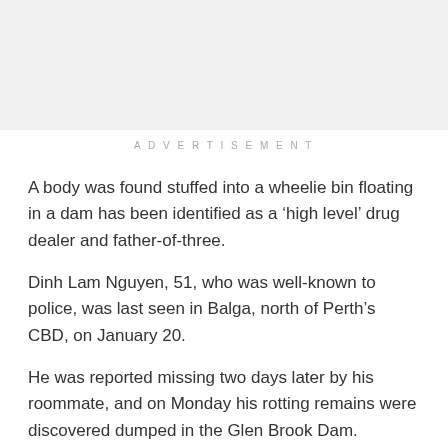[Figure (other): Grey advertisement placeholder box]
ADVERTISEMENT
A body was found stuffed into a wheelie bin floating in a dam has been identified as a ‘high level’ drug dealer and father-of-three.
Dinh Lam Nguyen, 51, who was well-known to police, was last seen in Balga, north of Perth’s CBD, on January 20.
He was reported missing two days later by his roommate, and on Monday his rotting remains were discovered dumped in the Glen Brook Dam.
A ‘foul smell’ led a group of teenagers and an adult to open the wheelie bin, which contained Nguyen’s decomposing